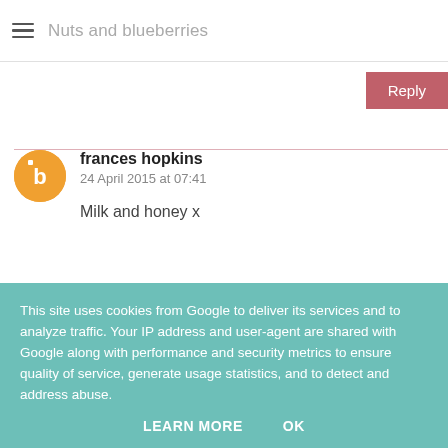Nuts and blueberries
Reply
frances hopkins
24 April 2015 at 07:41
Milk and honey x
Reply
This site uses cookies from Google to deliver its services and to analyze traffic. Your IP address and user-agent are shared with Google along with performance and security metrics to ensure quality of service, generate usage statistics, and to detect and address abuse.
LEARN MORE   OK